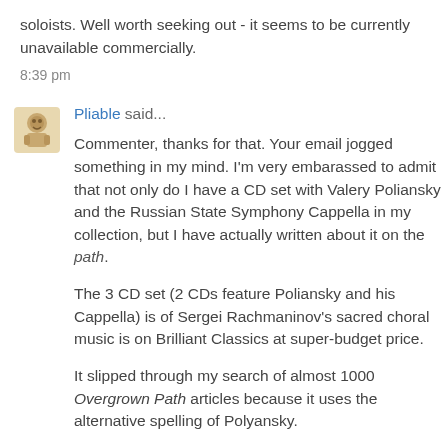soloists. Well worth seeking out - it seems to be currently unavailable commercially.
8:39 pm
Pliable said...
Commenter, thanks for that. Your email jogged something in my mind. I'm very embarassed to admit that not only do I have a CD set with Valery Poliansky and the Russian State Symphony Cappella in my collection, but I have actually written about it on the path.
The 3 CD set (2 CDs feature Poliansky and his Cappella) is of Sergei Rachmaninov's sacred choral music is on Brilliant Classics at super-budget price.
It slipped through my search of almost 1000 Overgrown Path articles because it uses the alternative spelling of Polyansky.
Although the Brilliant Classics box contains texts there is no biography of Valery...